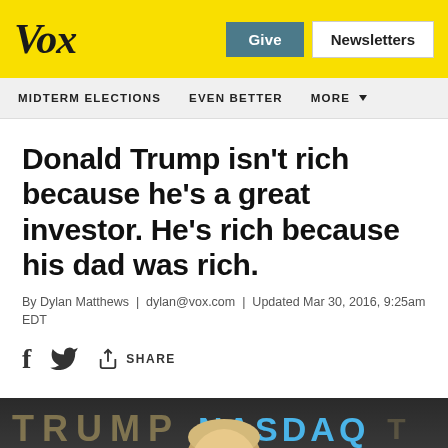Vox
Give | Newsletters
MIDTERM ELECTIONS   EVEN BETTER   MORE
Donald Trump isn't rich because he's a great investor. He's rich because his dad was rich.
By Dylan Matthews | dylan@vox.com | Updated Mar 30, 2016, 9:25am EDT
[Figure (photo): Donald Trump standing in front of TRUMP and NASDAQ signage, photo cropped to show top of head and background signage]